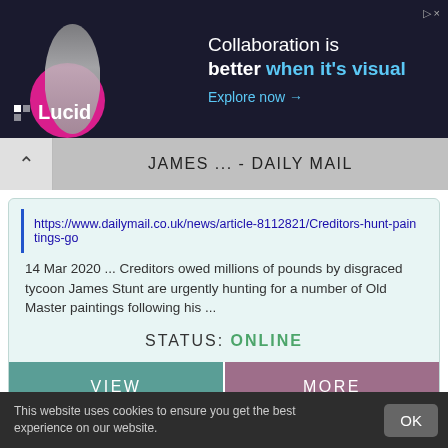[Figure (screenshot): Lucid advertisement banner: dark background with Lucid logo, figure illustration with pink circle, text 'Collaboration is better when it's visual' and 'Explore now →']
JAMES ... - DAILY MAIL
https://www.dailymail.co.uk/news/article-8112821/Creditors-hunt-paintings-go
14 Mar 2020 ... Creditors owed millions of pounds by disgraced tycoon James Stunt are urgently hunting for a number of Old Master paintings following his ...
STATUS: ONLINE
VIEW
MORE
THERE WERE NOT 28 MILLION 'MISSING' MAIL-IN BALLOTS | REALCLEARPOLITICS
This website uses cookies to ensure you get the best experience on our website.